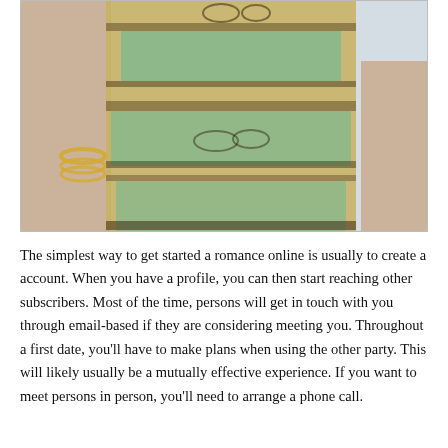[Figure (photo): Photo of a woman wearing a patterned dress with green, gold, and black tribal/ethnic print. She is wearing gold bangles. Only the torso and lower body are visible. Background is a light wall.]
The simplest way to get started a romance online is usually to create a account. When you have a profile, you can then start reaching other subscribers. Most of the time, persons will get in touch with you through email-based if they are considering meeting you. Throughout a first date, you'll have to make plans when using the other party. This will likely usually be a mutually effective experience. If you want to meet persons in person, you'll need to arrange a phone call.